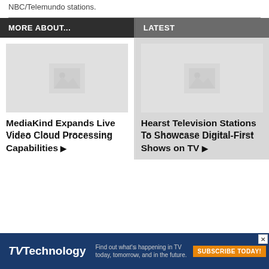NBC/Telemundo stations.
MORE ABOUT...
LATEST
[Figure (photo): Placeholder image thumbnail for MediaKind article]
MediaKind Expands Live Video Cloud Processing Capabilities ▶
[Figure (photo): Placeholder image thumbnail for Hearst Television article]
Hearst Television Stations To Showcase Digital-First Shows on TV ▶
[Figure (screenshot): TVTechnology advertisement banner: Find out what's happening in TV today, tomorrow, and in the future. SUBSCRIBE TODAY!]